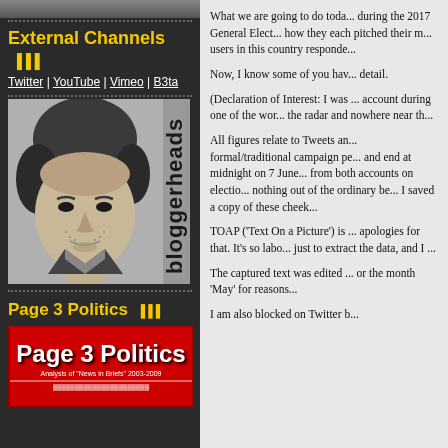[Figure (photo): Black and white headshot photo of a man with short hair and stubble, with 'bloggerheads' text written vertically on the right side]
External Channels
Twitter | YouTube | Vimeo | B3ta
Page 3 Politics
[Figure (logo): Page 3 Politics logo on red background with subtitle 'Analysis of News in Briefs 2003-2009']
What we are going to do toda... during the 2017 General Elect... how they each pitched their m... users in this country responde...
Now, I know some of you hav... detail.
(Declaration of Interest: I was ... account during one of the wor... the radar and nowhere near th...
All figures relate to Tweets an... formal/traditional campaign pe... and end at midnight on 7 June... from both accounts on electio... nothing out of the ordinary be... I saved a copy of these cheek...
TOAP ('Text On a Picture') is ... apologies for that. It's so labo... just to extract the data, and I ...
The captured text was edited ... or the month 'May' for reasons...
I am also blocked on Twitter b...